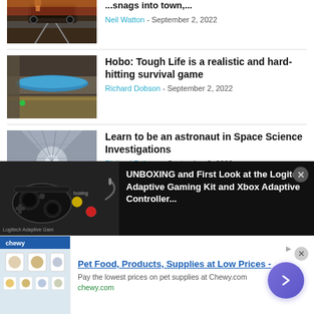[Figure (photo): Partial view of a steam train on tracks, partially cropped at top]
...snags into town,...
Neil Watton - September 2, 2022
[Figure (photo): Photo of a blue tarp under a bridge, Hobo game screenshot]
Hobo: Tough Life is a realistic and hard-hitting survival game
Richard Dobson - September 2, 2022
[Figure (photo): Screenshot of a space station interior corridor]
Learn to be an astronaut in Space Science Investigations
Richard Dobson - September 2, 2022
[Figure (screenshot): Dark ad banner showing Logitech Adaptive Gaming Kit and Xbox controller unboxing]
[Figure (screenshot): Light ad banner for Chewy.com pet food and supplies]